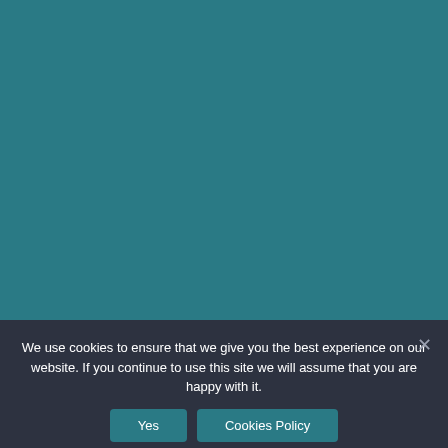[Figure (screenshot): Teal/dark cyan background webpage content area, partially obscured by cookie consent overlay]
We use cookies to ensure that we give you the best experience on our website. If you continue to use this site we will assume that you are happy with it.
Yes
Cookies Policy